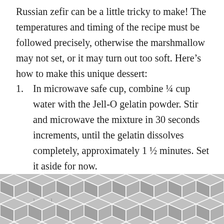Russian zefir can be a little tricky to make! The temperatures and timing of the recipe must be followed precisely, otherwise the marshmallow may not set, or it may turn out too soft. Here's how to make this unique dessert:
In microwave safe cup, combine ¼ cup water with the Jell-O gelatin powder. Stir and microwave the mixture in 30 seconds increments, until the gelatin dissolves completely, approximately 1 ½ minutes. Set it aside for now.
Place the egg whites into your stand mixer bowl. Turn the mixer on high and beat until the...
[Figure (illustration): Decorative geometric hexagon pattern overlay at bottom of page, semi-transparent gray]